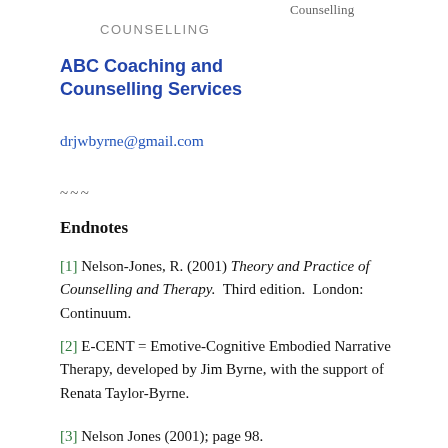Counselling
COUNSELLING
ABC Coaching and Counselling Services
drjwbyrne@gmail.com
~~~
Endnotes
[1] Nelson-Jones, R. (2001) Theory and Practice of Counselling and Therapy. Third edition. London: Continuum.
[2] E-CENT = Emotive-Cognitive Embodied Narrative Therapy, developed by Jim Byrne, with the support of Renata Taylor-Byrne.
[3] Nelson Jones (2001); page 98.